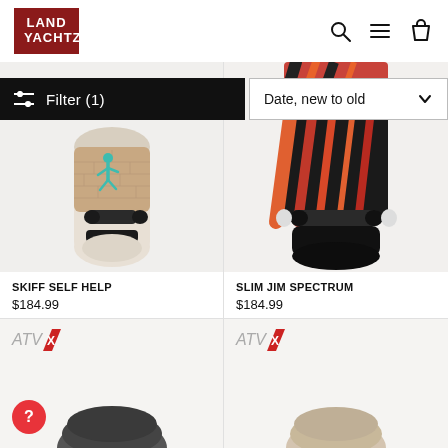LAND YACHTZ
Filter (1)
Date, new to old
[Figure (photo): Skateboard product photo - Skiff Self Help, top-down view with blue character on brick pattern deck, off-white wheels]
SKIFF SELF HELP
$184.99
[Figure (photo): Skateboard product photo - Slim Jim Spectrum, top-down view with black deck featuring orange/red diagonal stripes]
SLIM JIM SPECTRUM
$184.99
[Figure (photo): Skateboard product photo - ATV X model, partially visible, dark/grey deck, bottom of page]
[Figure (photo): Skateboard product photo - ATV X model, partially visible, light/tan deck, bottom of page]